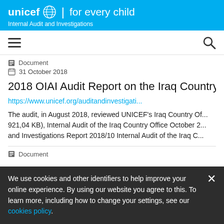unicef for every child | Internal Audit and Investigations
Document
31 October 2018
2018 OIAI Audit Report on the Iraq Country Office
https://www.unicef.org/auditandinvestigati...
The audit, in August 2018, reviewed UNICEF's Iraq Country Of... 921,04 KB), Internal Audit of the Iraq Country Office October 2... and Investigations Report 2018/10 Internal Audit of the Iraq C...
Document
We use cookies and other identifiers to help improve your online experience. By using our website you agree to this. To learn more, including how to change your settings, see our cookies policy.